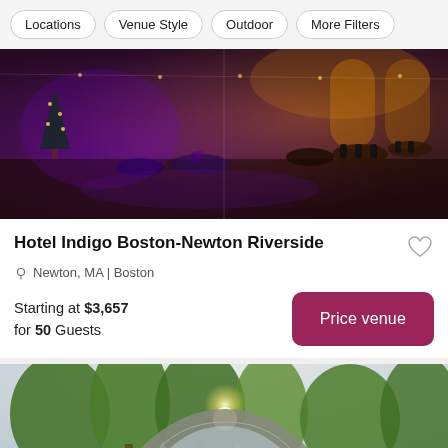[Figure (screenshot): Filter bar with buttons: Locations, Venue Style, Outdoor, More Filters]
[Figure (photo): Interior of a wedding venue with purple and gold lighting, decorated tables and chairs, string lights and floral arrangements.]
Hotel Indigo Boston-Newton Riverside
Newton, MA | Boston
Starting at $3,657 for 50 Guests
[Figure (photo): Outdoor wedding venue photo with stone arch, lush green trees, sunlight streaming through, and a couple embracing under the arch.]